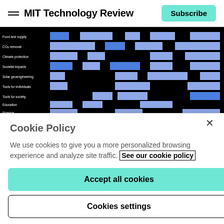MIT Technology Review
[Figure (infographic): A grid visualization on a black background showing different sub-disciplines of machine learning (rows: Food and Supply, CO2 removal, Climate protection, Societal impacts, Solar geoengineering, Tools for individuals, Tools for society, Education, Finance) with blue/purple colored blocks indicating their applicability across multiple columns.]
A grid of the different sub-disciplines in machine learning and how they can help fight climate change.
MR. TECH/THUMBNAIL SHUTTERSNAP/UNSPLASH
Cookie Policy
We use cookies to give you a more personalized browsing experience and analyze site traffic. See our cookie policy
Accept all cookies
Cookies settings